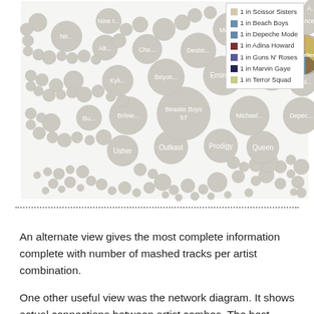[Figure (bubble-chart): A bubble chart showing music artists as circles of varying sizes, with artist names labeled inside. The Beatles circle is highlighted with a pie-chart style multicolor fill. A legend in the top-right shows: 1 in Scissor Sisters, 1 in Beach Boys, 1 in Depeche Mode, 1 in Adina Howard, 1 in Guns N' Roses, 1 in Marvin Gaye, 1 in Terror Squad. Notable labeled bubbles include: Prince, Missy..., Mado..., Nir..., Nine I..., Alt..., Che..., Destin..., Kyli..., Beyon..., Eminem, Kelis, Justi..., Bu..., Britne..., Beastie Boys 57, Michael..., Depec..., Usher, Outkast, Prodigy, Queen, and many unlabeled smaller circles.]
An alternate view gives the most complete information complete with number of mashed tracks per artist combination.
One other useful view was the network diagram. It shows actual connections between artist combos. The best